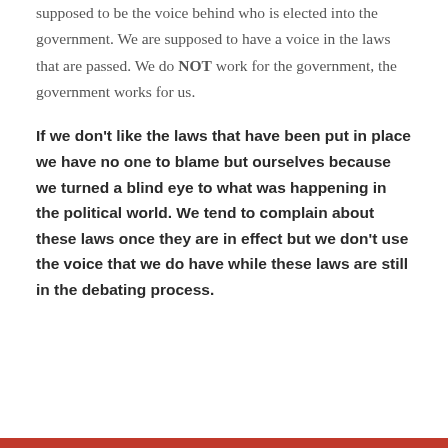supposed to be the voice behind who is elected into the government. We are supposed to have a voice in the laws that are passed. We do NOT work for the government, the government works for us.
If we don't like the laws that have been put in place we have no one to blame but ourselves because we turned a blind eye to what was happening in the political world. We tend to complain about these laws once they are in effect but we don't use the voice that we do have while these laws are still in the debating process.
Privacy & Cookies: This site uses cookies. By continuing to use this website, you agree to their use.
To find out more, including how to control cookies, see here: Cookie Policy